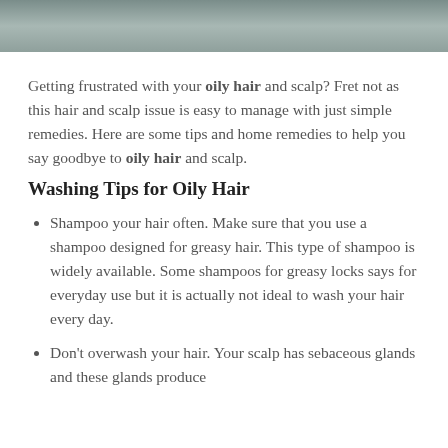[Figure (photo): Partial photo of a person at the top of the page, cropped]
Getting frustrated with your oily hair and scalp? Fret not as this hair and scalp issue is easy to manage with just simple remedies. Here are some tips and home remedies to help you say goodbye to oily hair and scalp.
Washing Tips for Oily Hair
Shampoo your hair often. Make sure that you use a shampoo designed for greasy hair. This type of shampoo is widely available. Some shampoos for greasy locks says for everyday use but it is actually not ideal to wash your hair every day.
Don't overwash your hair. Your scalp has sebaceous glands and these glands produce